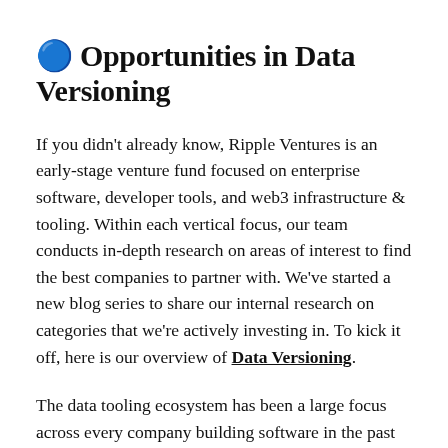🔵 Opportunities in Data Versioning
If you didn't already know, Ripple Ventures is an early-stage venture fund focused on enterprise software, developer tools, and web3 infrastructure & tooling. Within each vertical focus, our team conducts in-depth research on areas of interest to find the best companies to partner with. We've started a new blog series to share our internal research on categories that we're actively investing in. To kick it off, here is our overview of Data Versioning.
The data tooling ecosystem has been a large focus across every company building software in the past